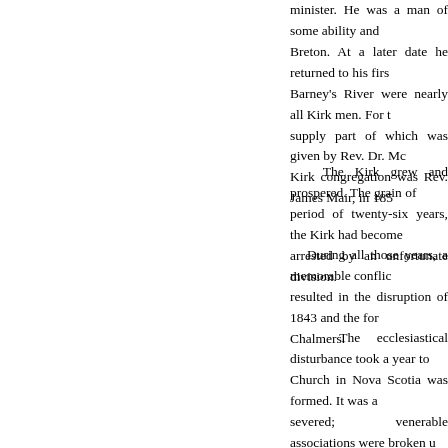minister. He was a man of some ability and... Breton. At a later date he returned to his firs... Barney's River were nearly all Kirk men. For t... supply part of which was given by Rev. Dr. Mc... Kirk congregation was Rev. James Mair, in 185...
The Kirk grew and prospered. The grain of... period of twenty-six years, the Kirk had become... arrested by an unfortunate division.
During all those years, a memorable conflic... resulted in the disruption of 1843 and the for... Chalmers.
The ecclesiastical disturbance took a year to... Church in Nova Scotia was formed. It was a... severed; venerable associations were broken u... feelings were engendered. But it is not necessa... there let it rest. That year, seven of the Kirk m... vacant by Free Church ministers. A majority of... part, as sheep without a shepherd.
Rev. John Stewart, New Glasgow, was of t... pastor of St. Andrew's Church immediately a... church was built at Fraser's Mountain. It was o... was separated in 1830, when the church was ... the present St. Andrew's Church. This was the...
When Mr. Stewart left the Kirk, about one hun... wont with him, and they formed Knox Church...